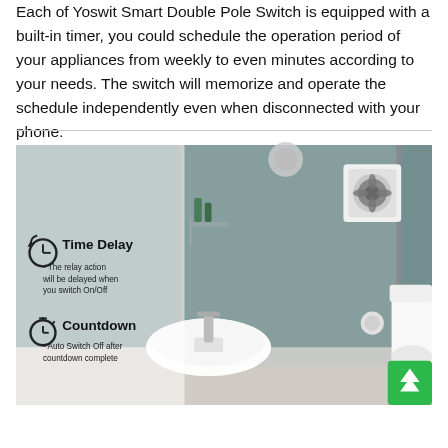Each of Yoswit Smart Double Pole Switch is equipped with a built-in timer, you could schedule the operation period of your appliances from weekly to even minutes according to your needs. The switch will memorize and operate the schedule independently even when disconnected with your phone.
[Figure (photo): Bathroom scene showing a shower enclosure, sink, toilet, and wall-mounted exhaust fan. Overlaid text describes two features: Time Delay (the relay action will be delayed when you switch On/Off) and Countdown (Auto Switch Off after countdown complete). A green back-to-top button appears in the bottom right corner.]